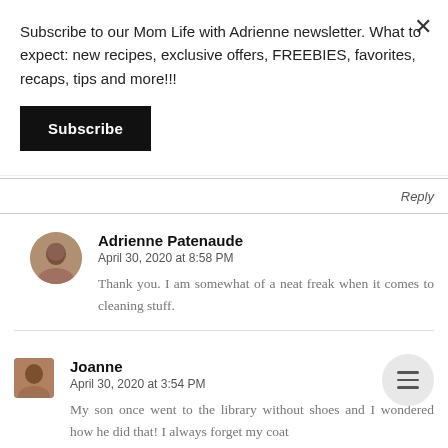Subscribe to our Mom Life with Adrienne newsletter. What to expect: new recipes, exclusive offers, FREEBIES, favorites, recaps, tips and more!!!
Subscribe
Reply
Adrienne Patenaude
April 30, 2020 at 8:58 PM
Thank you. I am somewhat of a neat freak when it comes to cleaning stuff.
[Figure (photo): Circular avatar photo of Adrienne Patenaude, a woman with dark hair]
Joanne
April 30, 2020 at 3:54 PM
My son once went to the library without shoes and I wondered how he did that! I always forget my coat
[Figure (photo): Square avatar photo of Joanne, a woman with lighter hair]